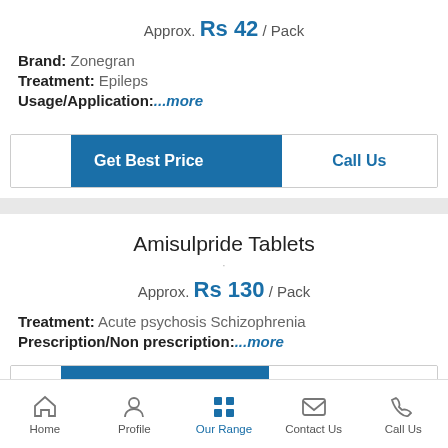Approx. Rs 42 / Pack
Brand: Zonegran
Treatment: Epileps
Usage/Application:...more
Get Best Price | Call Us
Amisulpride Tablets
Approx. Rs 130 / Pack
Treatment: Acute psychosis Schizophrenia
Prescription/Non prescription:...more
Home | Profile | Our Range | Contact Us | Call Us